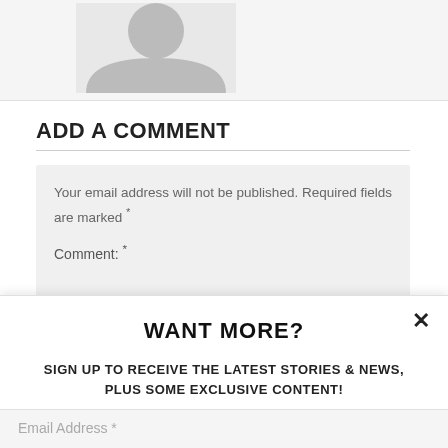[Figure (illustration): Gray placeholder avatar silhouette image in top-left area]
ADD A COMMENT
Your email address will not be published. Required fields are marked *
Comment: *
WANT MORE?
SIGN UP TO RECEIVE THE LATEST STORIES & NEWS, PLUS SOME EXCLUSIVE CONTENT!
Email Address *